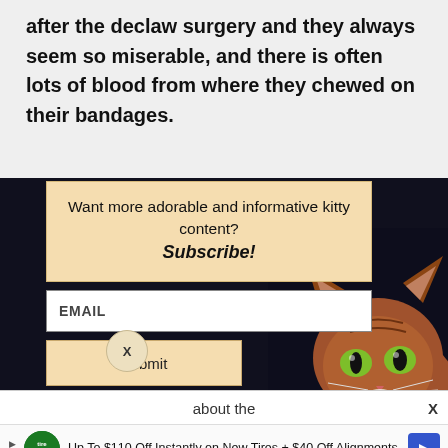after the declaw surgery and they always seem so miserable, and there is often lots of blood from where they chewed on their bandages.
Want more adorable and informative kitty content? Subscribe!
EMAIL
Submit
[Figure (photo): A brown tabby cat with green eyes looking upward against a dark background, partially visible in the lower right of the modal overlay.]
about the
Up To $110 Off Instantly on New Tires + $40 Off Alignments